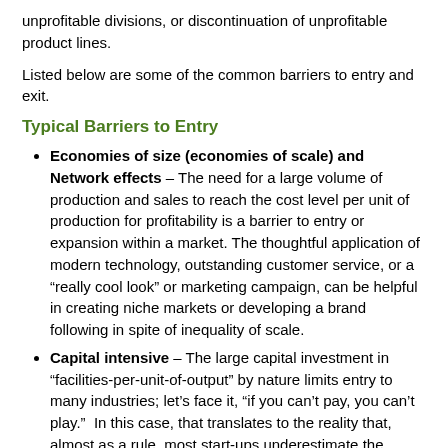unprofitable divisions, or discontinuation of unprofitable product lines.
Listed below are some of the common barriers to entry and exit.
Typical Barriers to Entry
Economies of size (economies of scale) and Network effects – The need for a large volume of production and sales to reach the cost level per unit of production for profitability is a barrier to entry or expansion within a market. The thoughtful application of modern technology, outstanding customer service, or a “really cool look” or marketing campaign, can be helpful in creating niche markets or developing a brand following in spite of inequality of scale.
Capital intensive – The large capital investment in “facilities-per-unit-of-output” by nature limits entry to many industries; let’s face it, “if you can’t pay, you can’t play.”  In this case, that translates to the reality that, almost as a rule, most start-ups underestimate the capital